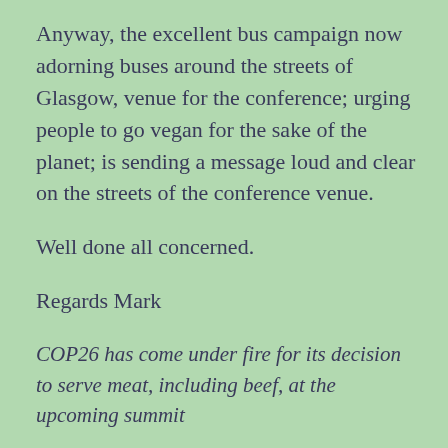Anyway, the excellent bus campaign now adorning buses around the streets of Glasgow, venue for the conference; urging people to go vegan for the sake of the planet; is sending a message loud and clear on the streets of the conference venue.
Well done all concerned.
Regards Mark
COP26 has come under fire for its decision to serve meat, including beef, at the upcoming summit
New Bus Campaign Urges World Leaders At COP26 To Go Vegan To Save The Planet – Plant Based N...